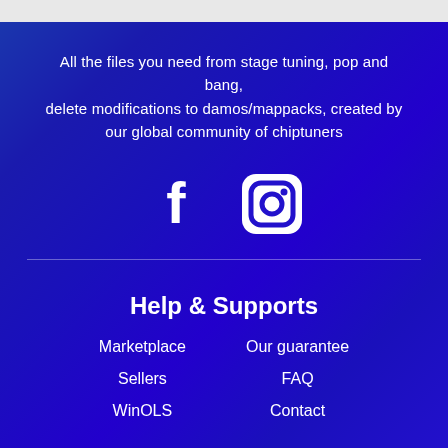All the files you need from stage tuning, pop and bang, delete modifications to damos/mappacks, created by our global community of chiptuners
[Figure (illustration): Facebook and Instagram social media icons in white on rounded square backgrounds]
Help & Supports
Marketplace
Sellers
WinOLS
Our guarantee
FAQ
Contact
Subscribe